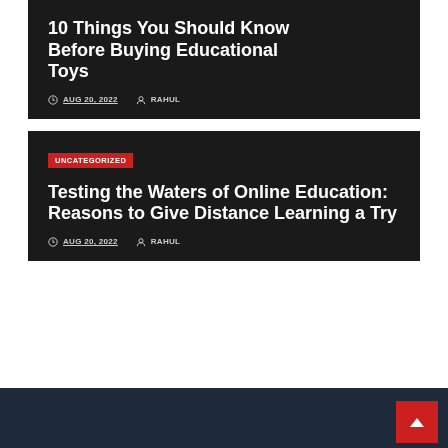10 Things You Should Know Before Buying Educational Toys
AUG 20, 2022   RAHUL
UNCATEGORIZED
Testing the Waters of Online Education: Reasons to Give Distance Learning a Try
AUG 20, 2022   RAHUL